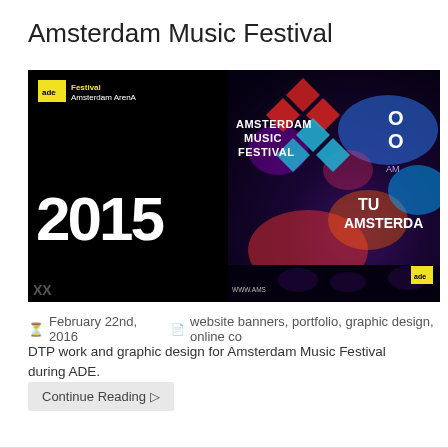Amsterdam Music Festival
[Figure (photo): Amsterdam Music Festival 2015 promotional banner image showing the ADE festival branding with 'Amsterdam Music Festival' logo in colorful diamond/cross pattern, year '2015' on black background, colorful stage lighting]
February 22nd, 2016    website banners, portfolio, graphic design, online co
DTP work and graphic design for Amsterdam Music Festival during ADE.
Continue Reading ▷